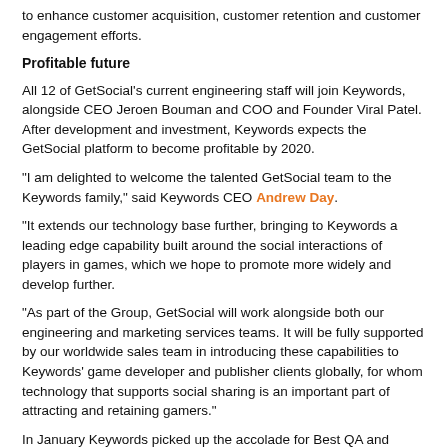to enhance customer acquisition, customer retention and customer engagement efforts.
Profitable future
All 12 of GetSocial's current engineering staff will join Keywords, alongside CEO Jeroen Bouman and COO and Founder Viral Patel. After development and investment, Keywords expects the GetSocial platform to become profitable by 2020.
"I am delighted to welcome the talented GetSocial team to the Keywords family," said Keywords CEO Andrew Day.
"It extends our technology base further, bringing to Keywords a leading edge capability built around the social interactions of players in games, which we hope to promote more widely and develop further.
"As part of the Group, GetSocial will work alongside both our engineering and marketing services teams. It will be fully supported by our worldwide sales team in introducing these capabilities to Keywords' game developer and publisher clients globally, for whom technology that supports social sharing is an important part of attracting and retaining gamers."
In January Keywords picked up the accolade for Best QA and Localisation Service Provider at the Pocket Gamer Mobile Games Awards in association with Game Insight.
This story first broke over on PCGamesInsider.Biz.